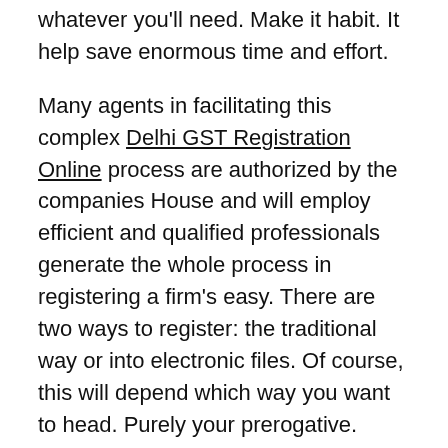whatever you'll need. Make it habit. It help save enormous time and effort.
Many agents in facilitating this complex Delhi GST Registration Online process are authorized by the companies House and will employ efficient and qualified professionals generate the whole process in registering a firm's easy. There are two ways to register: the traditional way or into electronic files. Of course, this will depend which way you want to head. Purely your prerogative. Nothing more, nothing less.
The advantage in hiring a registration agent ensures all the formalities are completed without errors and also of course, for the required efficiency. Some of the important benefits in hiring a company registration agent have elected the registration quick, now that just about all agents today use electronic method in registering.